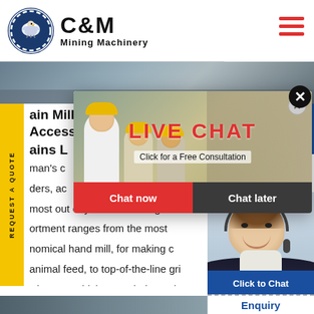[Figure (logo): C&M Mining Machinery logo with eagle/gear icon and brand name]
[Figure (photo): Industrial machinery hero banner image, partially visible]
REQUEST A QUOTE (sidebar vertical text)
Grain Mills, Grinders, Accessories and Grains L... Hours ...line
man's c... ders, ac... most out of your food. Our gri... ortment ranges from the most... nomical hand mill, for making c... animal feed, to top-of-the-line gri... Diamant, which can grind practica...
[Figure (photo): Live chat popup with workers in yellow helmets, LIVE CHAT heading, Click for a Free Consultation, Chat now / Chat later buttons]
[Figure (photo): Customer service agent with headset on right side, Click to Chat button, Enquiry section below]